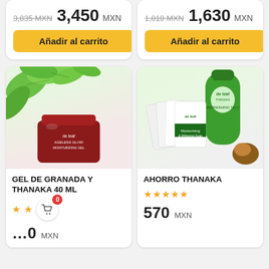3,835 MXN  3,450 MXN
Añadir al carrito
1,810 MXN  1,630 MXN
Añadir al carrito
[Figure (photo): Red jar of Ageless Glow Moisturizing Gel with green leaves in background]
GEL DE GRANADA Y THANAKA 40 ML
★ ★
0 MXN
[Figure (photo): De Leaf Thanaka Ahorro bundle: green bottle of Refreshing Talc and moisturizing soap packets]
AHORRO THANAKA
★★★★★
570 MXN